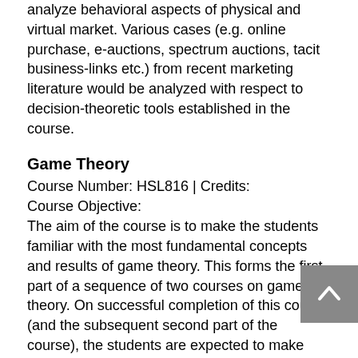analyze behavioral aspects of physical and virtual market. Various cases (e.g. online purchase, e-auctions, spectrum auctions, tacit business-links etc.) from recent marketing literature would be analyzed with respect to decision-theoretic tools established in the course.
Game Theory
Course Number: HSL816 | Credits:
Course Objective:
The aim of the course is to make the students familiar with the most fundamental concepts and results of game theory. This forms the first part of a sequence of two courses on game theory. On successful completion of this course (and the subsequent second part of the course), the students are expected to make clear how game theory and mechanism design can be applied to their own research. Our intention is to present the theory with formal proofs of the main theorems including a number of examples and short questions to enliven the presentation. The course will also include a number of elaborate exercises, enabling the students to apply